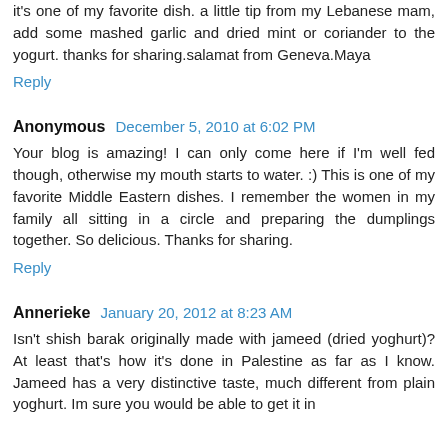it's one of my favorite dish. a little tip from my Lebanese mam, add some mashed garlic and dried mint or coriander to the yogurt. thanks for sharing.salamat from Geneva.Maya
Reply
Anonymous  December 5, 2010 at 6:02 PM
Your blog is amazing! I can only come here if I'm well fed though, otherwise my mouth starts to water. :) This is one of my favorite Middle Eastern dishes. I remember the women in my family all sitting in a circle and preparing the dumplings together. So delicious. Thanks for sharing.
Reply
Annerieke  January 20, 2012 at 8:23 AM
Isn't shish barak originally made with jameed (dried yoghurt)? At least that's how it's done in Palestine as far as I know. Jameed has a very distinctive taste, much different from plain yoghurt. Im sure you would be able to get it in